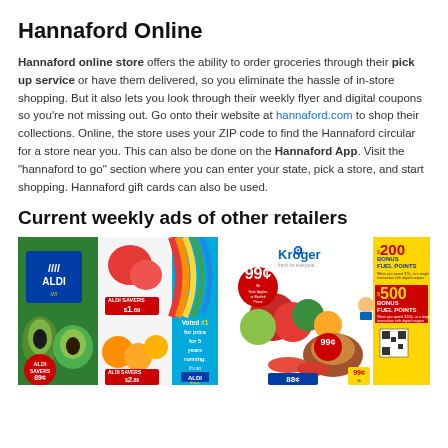Hannaford Online
Hannaford online store offers the ability to order groceries through their pick up service or have them delivered, so you eliminate the hassle of in-store shopping. But it also lets you look through their weekly flyer and digital coupons so you're not missing out. Go onto their website at hannaford.com to shop their collections. Online, the store uses your ZIP code to find the Hannaford circular for a store near you. This can also be done on the Hannaford App. Visit the "hannaford to go" section where you can enter your state, pick a store, and start shopping. Hannaford gift cards can also be used.
Current weekly ads of other retailers
[Figure (photo): ALDI weekly ad flyer showing avocados, strawberries, oranges, and promotional prices including 89 cents and $1.69 and $2.89, with text 'Voted #1 for price for 5 years running. It's an ALDI thing.']
[Figure (photo): Kroger weekly ad flyer showing apples, a turkey, hot dogs, and promotional prices including 99 cents per lb for Gala Apples or Bartlett Pears, 99 cents, 88 cents, with 200 and 500 Bonus Fuel Points offers.]